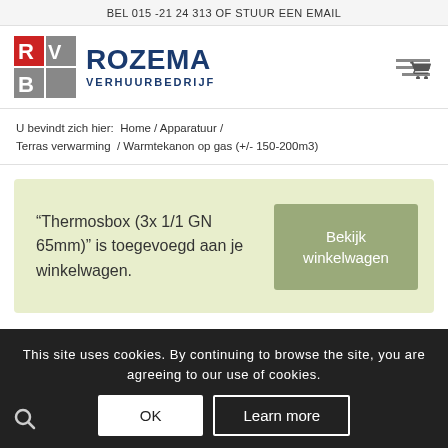BEL 015 -21 24 313 OF STUUR EEN EMAIL
[Figure (logo): Rozema Verhuurbedrijf logo with red/grey RVB square icon and blue text ROZEMA VERHUURBEDRIJF]
U bevindt zich hier: Home / Apparatuur / Terras verwarming / Warmtekanon op gas (+/- 150-200m3)
“Thermosbox (3x 1/1 GN 65mm)” is toegevoegd aan je winkelwagen.
This site uses cookies. By continuing to browse the site, you are agreeing to our use of cookies.